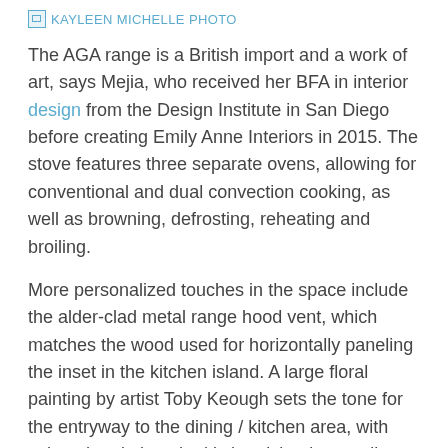[Figure (photo): KAYLEEN MICHELLE PHOTO placeholder image link at top of page]
The AGA range is a British import and a work of art, says Mejia, who received her BFA in interior design from the Design Institute in San Diego before creating Emily Anne Interiors in 2015. The stove features three separate ovens, allowing for conventional and dual convection cooking, as well as browning, defrosting, reheating and broiling.
More personalized touches in the space include the alder-clad metal range hood vent, which matches the wood used for horizontally paneling the inset in the kitchen island. A large floral painting by artist Toby Keough sets the tone for the entryway to the dining / kitchen area, with colors that tie into the kitchen island, as well as the seating in the adjacent living room.
[Figure (photo): KAYLEEN MICHELLE PHOTO placeholder image link at bottom of page]